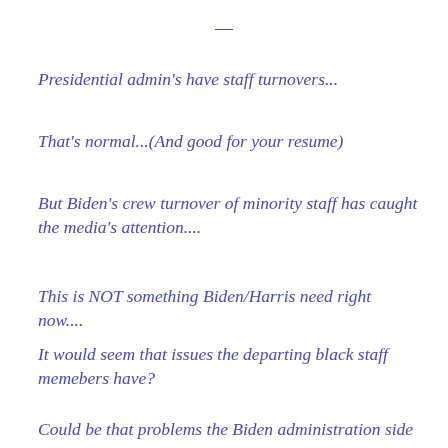—
Presidential admin's have staff turnovers...
That's normal...(And good for your resume)
But Biden's crew turnover of minority staff has caught the media's attention....
This is NOT something Biden/Harris need right now....
It would seem that issues the departing black staff memebers have?
Could be that problems the Biden administration side